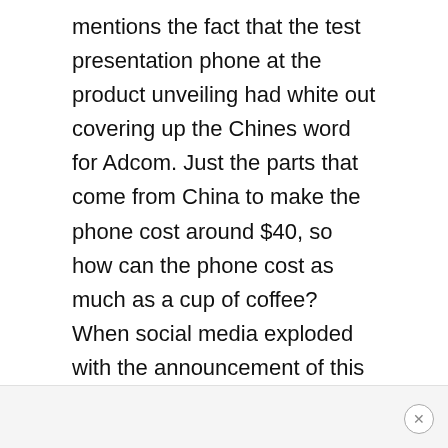mentions the fact that the test presentation phone at the product unveiling had white out covering up the Chines word for Adcom. Just the parts that come from China to make the phone cost around $40, so how can the phone cost as much as a cup of coffee? When social media exploded with the announcement of this ultra cheap phone, called Freedom 251 because it only cost 251 Indian rupees, the site got so many orders it crashed.